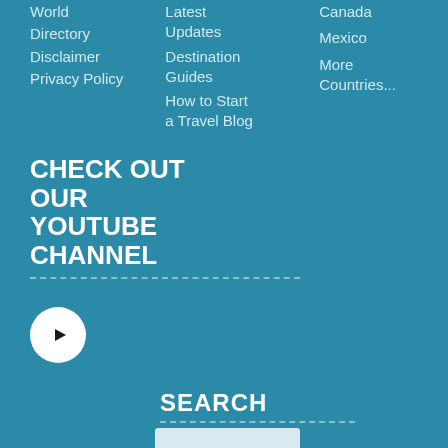World
Directory
Disclaimer
Privacy Policy
Latest Updates
Destination Guides
How to Start a Travel Blog
Canada
Mexico
More Countries...
CHECK OUT OUR YOUTUBE CHANNEL
[Figure (logo): YouTube play button icon — white circle with black play triangle]
SEARCH